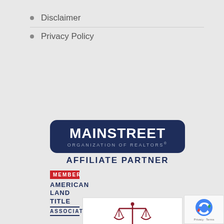Disclaimer
Privacy Policy
[Figure (logo): Mainstreet Organization of Realtors Affiliate Partner logo — dark navy rounded rectangle badge with white text 'MAINSTREET' large, 'ORGANIZATION OF REALTORS®' smaller below, and 'AFFILIATE PARTNER' in navy below the badge]
[Figure (logo): American Land Title Association Member logo — red 'MEMBER' bar at top, then 'AMERICAN LAND TITLE ASSOCIATION' in dark blue bold text with eagle bird illustration and TM mark]
[Figure (logo): Illinois State Bar Association Member Firm logo — scales of justice graphic in dark red, 'ILLINOIS STATE BAR ASSOCIATION™' text, 'MEMBER FIRM' below]
[Figure (other): Google reCAPTCHA badge — small white box with reCAPTCHA icon and 'Privacy · Terms' text]